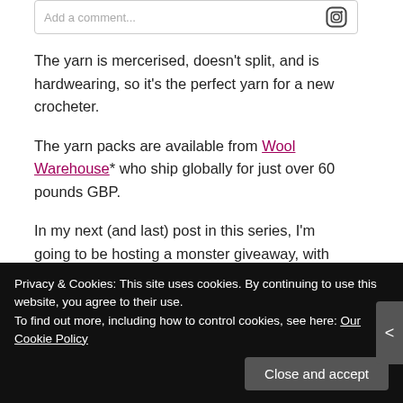The yarn is mercerised, doesn't split, and is hardwearing, so it's the perfect yarn for a new crocheter.
The yarn packs are available from Wool Warehouse* who ship globally for just over 60 pounds GBP.
In my next (and last) post in this series, I'm going to be hosting a monster giveaway, with some of the great items
Privacy & Cookies: This site uses cookies. By continuing to use this website, you agree to their use.
To find out more, including how to control cookies, see here: Our Cookie Policy
Close and accept